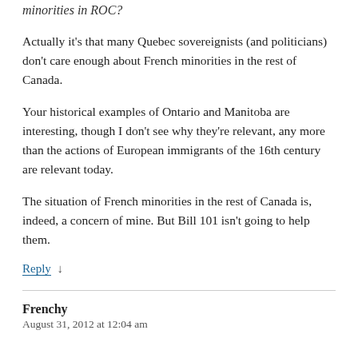minorities in ROC?
Actually it's that many Quebec sovereignists (and politicians) don't care enough about French minorities in the rest of Canada.
Your historical examples of Ontario and Manitoba are interesting, though I don't see why they're relevant, any more than the actions of European immigrants of the 16th century are relevant today.
The situation of French minorities in the rest of Canada is, indeed, a concern of mine. But Bill 101 isn't going to help them.
Reply ↓
Frenchy
August 31, 2012 at 12:04 am